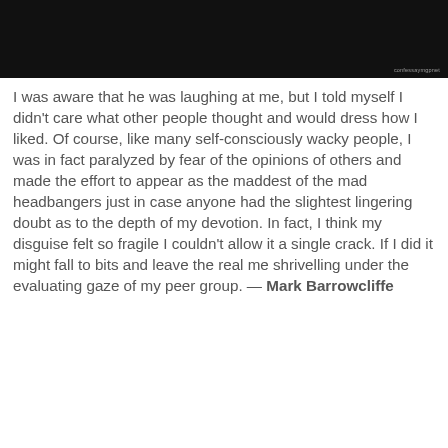[Figure (photo): Dark photograph, mostly black, appears to show a figure in low lighting]
I was aware that he was laughing at me, but I told myself I didn't care what other people thought and would dress how I liked. Of course, like many self-consciously wacky people, I was in fact paralyzed by fear of the opinions of others and made the effort to appear as the maddest of the mad headbangers just in case anyone had the slightest lingering doubt as to the depth of my devotion. In fact, I think my disguise felt so fragile I couldn't allow it a single crack. If I did it might fall to bits and leave the real me shrivelling under the evaluating gaze of my peer group. — Mark Barrowcliffe